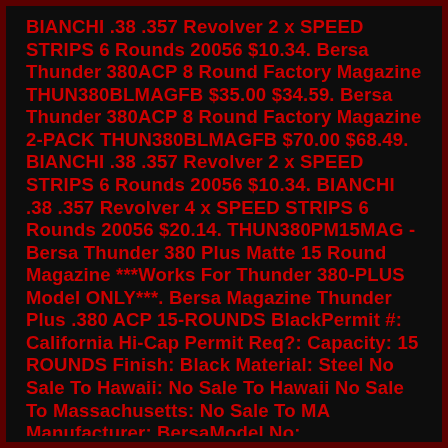BIANCHI .38 .357 Revolver 2 x SPEED STRIPS 6 Rounds 20056 $10.34. Bersa Thunder 380ACP 8 Round Factory Magazine THUN380BLMAGFB $35.00 $34.59. Bersa Thunder 380ACP 8 Round Factory Magazine 2-PACK THUN380BLMAGFB $70.00 $68.49. BIANCHI .38 .357 Revolver 2 x SPEED STRIPS 6 Rounds 20056 $10.34. BIANCHI .38 .357 Revolver 4 x SPEED STRIPS 6 Rounds 20056 $20.14. THUN380PM15MAG - Bersa Thunder 380 Plus Matte 15 Round Magazine ***Works For Thunder 380-PLUS Model ONLY***. Bersa Magazine Thunder Plus .380 ACP 15-ROUNDS BlackPermit #: California Hi-Cap Permit Req?: Capacity: 15 ROUNDS Finish: Black Material: Steel No Sale To Hawaii: No Sale To Hawaii No Sale To Massachusetts: No Sale To MA Manufacturer: BersaModel No: THUN380Pm15Mag Manufacturer Llama Firearms Mfg No THUN380PM15MAG SKU 5764740. Bersa, Thunder, Double Action, Compact, 380ACP, 3 'Affordable, Premium TWS Earbuds with Qualcomm TrueWireless Stereo Plus Technology It has a 15 round Magazine Just grasp pistol normally to turn laser on. Thanks for viewing. Don Thanks for